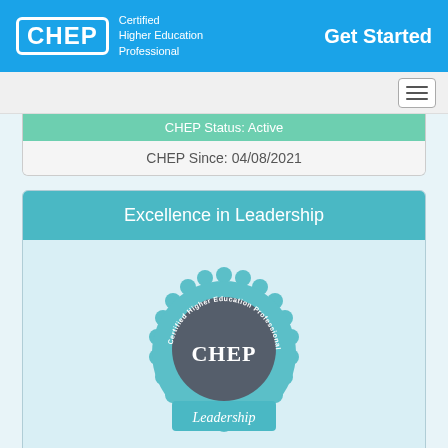CHEP Certified Higher Education Professional — Get Started
CHEP Status: Active
CHEP Since: 04/08/2021
Excellence in Leadership
[Figure (logo): CHEP certification badge with scalloped teal border, dark gray center circle with 'CHEP' text, 'Certified Higher Education Professional' text around the ring, and 'Leadership' banner at bottom]
CHEP Status: Active
CHEP Since: 06/18/2021